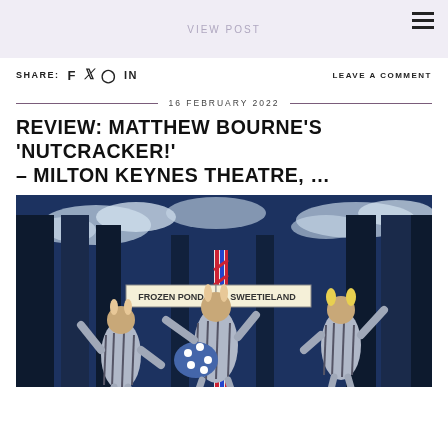VIEW POST
SHARE: [facebook] [twitter] [pinterest] [linkedin]   LEAVE A COMMENT
16 FEBRUARY 2022
REVIEW: MATTHEW BOURNE'S 'NUTCRACKER!' – MILTON KEYNES THEATRE, …
[Figure (photo): Three dancers in striped pyjamas with animal ear headpieces performing on stage, with signs reading 'FROZEN POND' and 'SWEETIELAND', a barber pole in the centre, against a blue sky backdrop with clouds.]